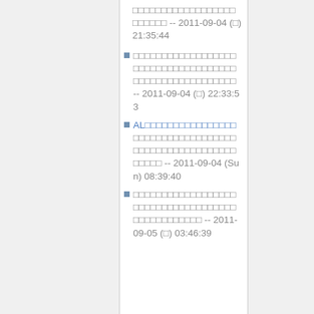□□□□□□□□□□□□□□□□□□ □□□□□□ -- 2011-09-04 (□) 21:35:44
□□□□□□□□□□□□□□□□□□ □□□□□□□□□□□□□□□□□□ □□□□□□□□□□□□□□□□□□ -- 2011-09-04 (□) 22:33:53
AL□□□□□□□□□□□□□□□□ □□□□□□□□□□□□□□□□□□ □□□□□□□□□□□□□□□□□□ □□□□□ -- 2011-09-04 (Sun) 08:39:40
□□□□□□□□□□□□□□□□□□ □□□□□□□□□□□□□□□□□□ □□□□□□□□□□□□ -- 2011-09-05 (□) 03:46:39